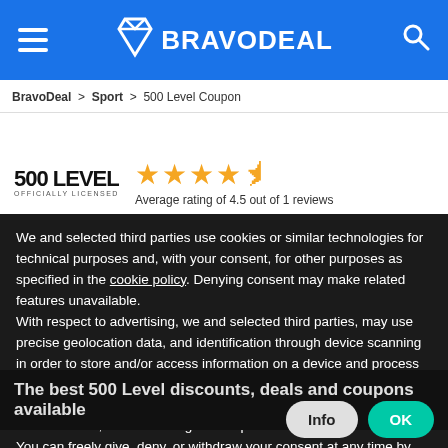BRAVODEAL
BravoDeal > Sport > 500 Level Coupon
[Figure (logo): 500 LEVEL officially licensed brand logo with 4.5 star rating. Average rating of 4.5 out of 1 reviews.]
We and selected third parties use cookies or similar technologies for technical purposes and, with your consent, for other purposes as specified in the cookie policy. Denying consent may make related features unavailable.
With respect to advertising, we and selected third parties, may use precise geolocation data, and identification through device scanning in order to store and/or access information on a device and process personal data like your usage data for the following advertising purposes: personalized ads and content, ad and content measurement, audience insights and product development.
You can freely give, deny, or withdraw your consent at any time by accessing the preferences panel.
You can consent to the use of such technologies by using the “OK” button or by continuing to browse otherwise.
The best 500 Level discounts, deals and coupons available